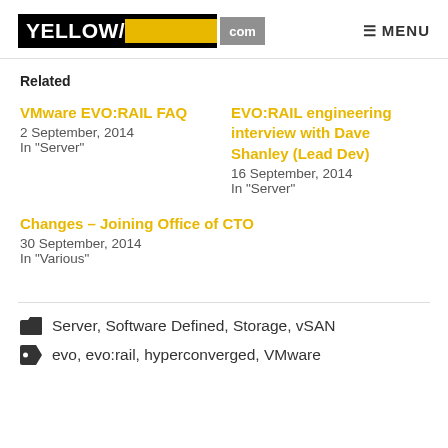[Figure (logo): YellowBricks.com website logo with black background for YELLOW, gold/yellow for BRICKS, grey for .com]
Related
VMware EVO:RAIL FAQ
2 September, 2014
In "Server"
EVO:RAIL engineering interview with Dave Shanley (Lead Dev)
16 September, 2014
In "Server"
Changes – Joining Office of CTO
30 September, 2014
In "Various"
Server, Software Defined, Storage, vSAN
evo, evo:rail, hyperconverged, VMware